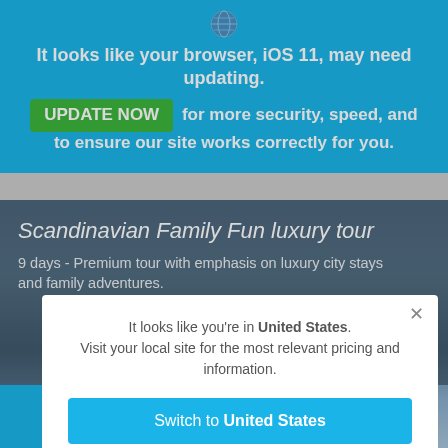[Figure (screenshot): Screenshot of a travel website showing a browser update notification banner in blue, a hero image for 'Scandinavian Family Fun luxury tour', and a modal popup asking the user to switch to their local United States site.]
It looks like your browser, iOS 11, may need updating.
UPDATE NOW  for more security, speed, and to ensure our site works correctly for you.
Scandinavian Family Fun luxury tour
9 days - Premium tour with emphasis on luxury city stays and family adventures.
It looks like you're in United States. Visit your local site for the most relevant pricing and information.
Switch to United States